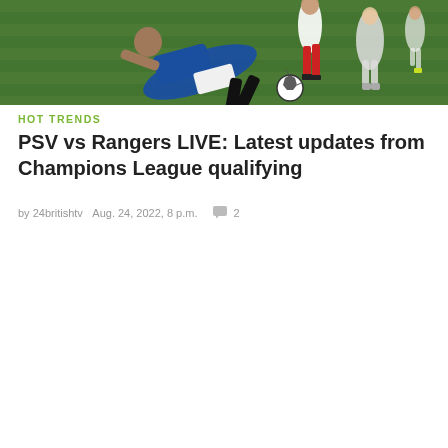[Figure (photo): Soccer/football match action photo showing a player in a blue Rangers kit sliding on the pitch, with opponent players and a ball visible on a green grass field]
HOT TRENDS
PSV vs Rangers LIVE: Latest updates from Champions League qualifying
by 24britishtv   Aug. 24, 2022, 8 p.m.   💬 2